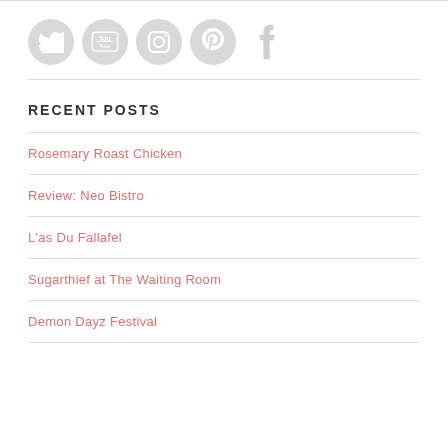[Figure (illustration): Social media icons: Twitter, YouTube, Instagram, Pinterest, Facebook — rendered as light grey circles/icons]
RECENT POSTS
Rosemary Roast Chicken
Review: Neo Bistro
L'as Du Fallafel
Sugarthief at The Waiting Room
Demon Dayz Festival